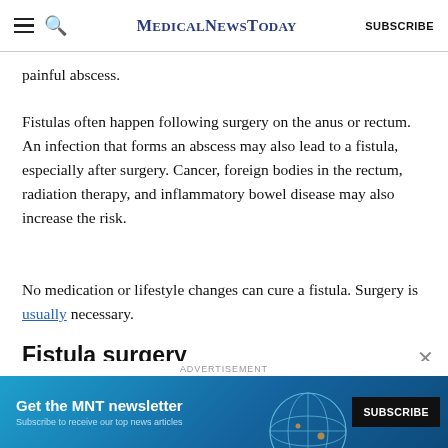MedicalNewsToday | SUBSCRIBE
painful abscess.
Fistulas often happen following surgery on the anus or rectum. An infection that forms an abscess may also lead to a fistula, especially after surgery. Cancer, foreign bodies in the rectum, radiation therapy, and inflammatory bowel disease may also increase the risk.
No medication or lifestyle changes can cure a fistula. Surgery is usually necessary.
Fistula surgery
[Figure (screenshot): Advertisement banner for MNT newsletter. Text: 'Get the MNT newsletter. Subscribe to receive our top news articles.' with a SUBSCRIBE button on dark background.]